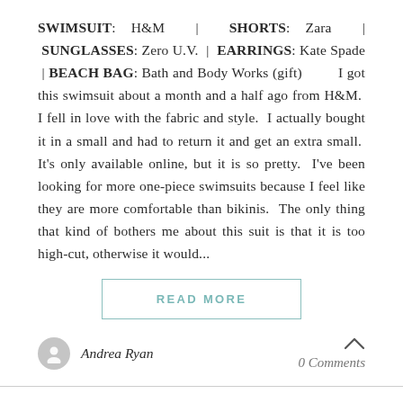SWIMSUIT: H&M  |  SHORTS: Zara  |  SUNGLASSES: Zero U.V.  |  EARRINGS: Kate Spade  |  BEACH BAG: Bath and Body Works (gift)        I got this swimsuit about a month and a half ago from H&M.  I fell in love with the fabric and style.  I actually bought it in a small and had to return it and get an extra small.  It's only available online, but it is so pretty.  I've been looking for more one-piece swimsuits because I feel like they are more comfortable than bikinis.  The only thing that kind of bothers me about this suit is that it is too high-cut, otherwise it would...
READ MORE
Andrea Ryan
0 Comments